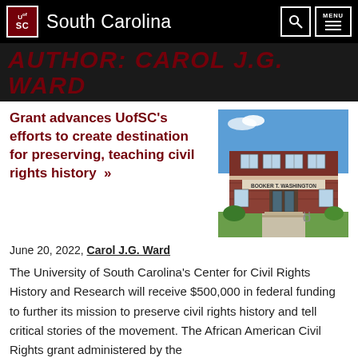South Carolina — University of South Carolina
AUTHOR: CAROL J.G. WARD
Grant advances UofSC's efforts to create destination for preserving, teaching civil rights history »
[Figure (photo): Exterior photo of a red brick academic building with a sign reading 'Booker T. Washington' on the facade, blue sky and green trees in background.]
June 20, 2022, Carol J.G. Ward
The University of South Carolina's Center for Civil Rights History and Research will receive $500,000 in federal funding to further its mission to preserve civil rights history and tell critical stories of the movement. The African American Civil Rights grant administered by the